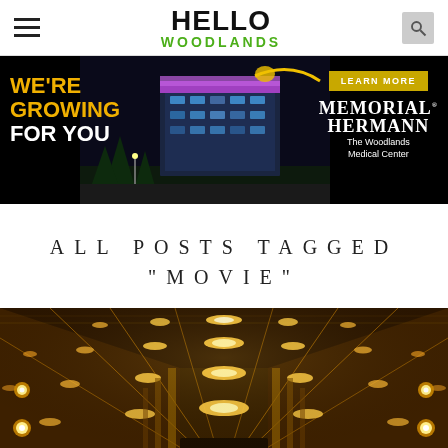HELLO WOODLANDS
[Figure (photo): Memorial Hermann The Woodlands Medical Center advertisement banner with text WE'RE GROWING FOR YOU on the left and LEARN MORE button with Memorial Hermann logo on the right, dark background with hospital building image]
ALL POSTS TAGGED "MOVIE"
[Figure (photo): Interior photo of a movie theater hallway with warm golden ceiling lights in a geometric diamond pattern, ornate gold architectural details on ceiling and walls, and circular wall sconces]